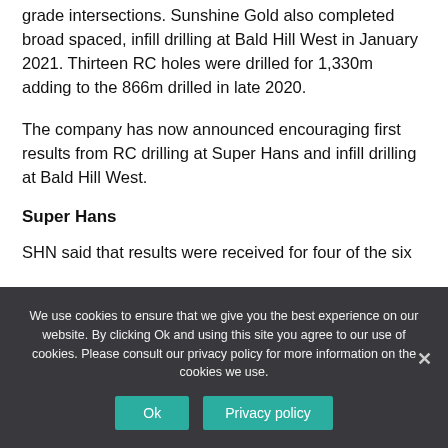grade intersections. Sunshine Gold also completed broad spaced, infill drilling at Bald Hill West in January 2021. Thirteen RC holes were drilled for 1,330m adding to the 866m drilled in late 2020.
The company has now announced encouraging first results from RC drilling at Super Hans and infill drilling at Bald Hill West.
Super Hans
SHN said that results were received for four of the six
We use cookies to ensure that we give you the best experience on our website. By clicking Ok and using this site you agree to our use of cookies. Please consult our privacy policy for more information on the cookies we use.